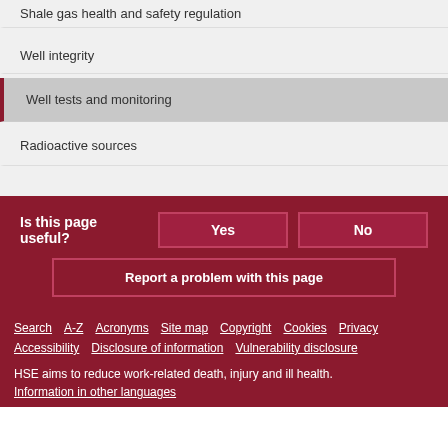Shale gas health and safety regulation
Well integrity
Well tests and monitoring
Radioactive sources
Is this page useful?  Yes  No
Report a problem with this page
Search  A-Z  Acronyms  Site map  Copyright  Cookies  Privacy  Accessibility  Disclosure of information  Vulnerability disclosure
HSE aims to reduce work-related death, injury and ill health.
Information in other languages